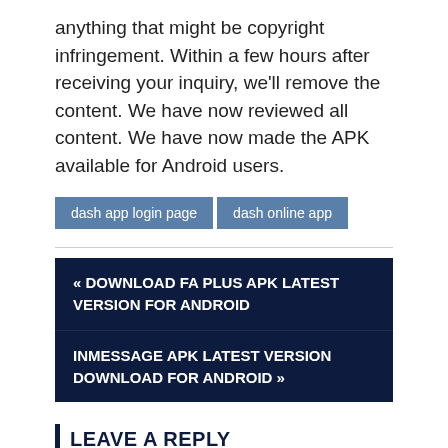anything that might be copyright infringement. Within a few hours after receiving your inquiry, we'll remove the content. We have now reviewed all content. We have now made the APK available for Android users.
dash app login page
dash online app
« DOWNLOAD FA PLUS APK LATEST VERSION FOR ANDROID
INMESSAGE APK LATEST VERSION DOWNLOAD FOR ANDROID »
LEAVE A REPLY
Your email address will not be published. Required fields